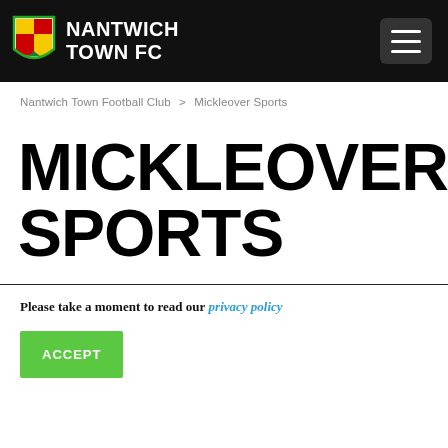NANTWICH TOWN FC
Nantwich Town Football Club > Mickleover Sports
MICKLEOVER SPORTS
Please take a moment to read our privacy policy
ACCEPT